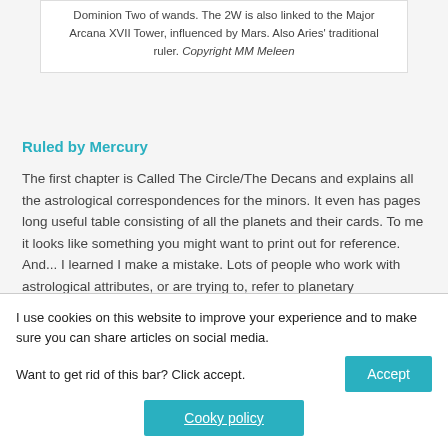Dominion Two of wands. The 2W is also linked to the Major Arcana XVII Tower, influenced by Mars. Also Aries' traditional ruler. Copyright MM Meleen
Ruled by Mercury
The first chapter is Called The Circle/The Decans and explains all the astrological correspondences for the minors. It even has pages long useful table consisting of all the planets and their cards. To me it looks like something you might want to print out for reference. And... I learned I make a mistake. Lots of people who work with astrological attributes, or are trying to, refer to planetary
I use cookies on this website to improve your experience and to make sure you can share articles on social media. Want to get rid of this bar? Click accept.
Accept
Cooky policy